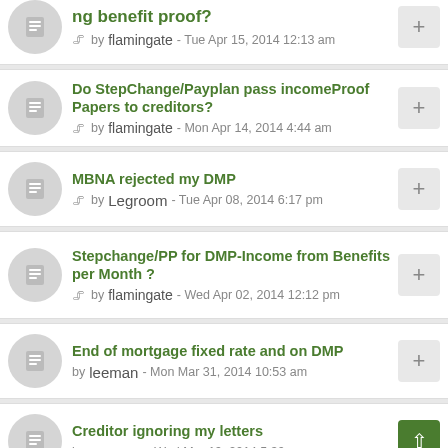ng benefit proof? by flamingate - Tue Apr 15, 2014 12:13 am
Do StepChange/Payplan pass incomeProof Papers to creditors? by flamingate - Mon Apr 14, 2014 4:44 am
MBNA rejected my DMP by Legroom - Tue Apr 08, 2014 6:17 pm
Stepchange/PP for DMP-Income from Benefits per Month ? by flamingate - Wed Apr 02, 2014 12:12 pm
End of mortgage fixed rate and on DMP by leeman - Mon Mar 31, 2014 10:53 am
Creditor ignoring my letters by ceres63 - Wed Mar 19, 2014 5:30 pm